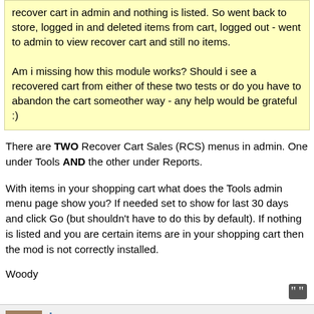recover cart in admin and nothing is listed. So went back to store, logged in and deleted items from cart, logged out - went to admin to view recover cart and still no items.

Am i missing how this module works? Should i see a recovered cart from either of these two tests or do you have to abandon the cart someother way - any help would be grateful :)
There are TWO Recover Cart Sales (RCS) menus in admin. One under Tools AND the other under Reports.

With items in your shopping cart what does the Tools admin menu page show you? If needed set to show for last 30 days and click Go (but shouldn't have to do this by default). If nothing is listed and you are certain items are in your shopping cart then the mod is not correctly installed.

Woody
jayson.gurney said:
31 May 2006 11:04 AM
Re: Recover Cart Error Messages